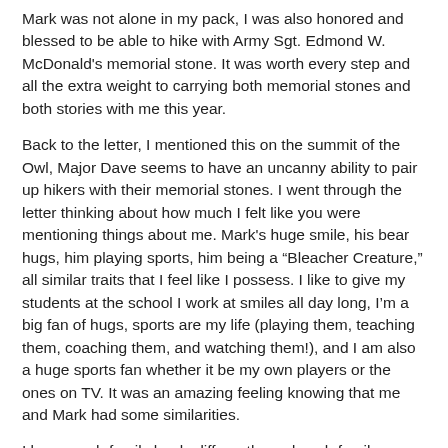Mark was not alone in my pack, I was also honored and blessed to be able to hike with Army Sgt. Edmond W. McDonald's memorial stone. It was worth every step and all the extra weight to carrying both memorial stones and both stories with me this year.
Back to the letter, I mentioned this on the summit of the Owl, Major Dave seems to have an uncanny ability to pair up hikers with their memorial stones. I went through the letter thinking about how much I felt like you were mentioning things about me. Mark's huge smile, his bear hugs, him playing sports, him being a "Bleacher Creature," all similar traits that I feel like I possess. I like to give my students at the school I work at smiles all day long, I'm a big fan of hugs, sports are my life (playing them, teaching them, coaching them, and watching them!), and I am also a huge sports fan whether it be my own players or the ones on TV. It was an amazing feeling knowing that me and Mark had some similarities.
I know each family heals differently, and each family member in the family has their own way of healing. Being a part of the Summit Project